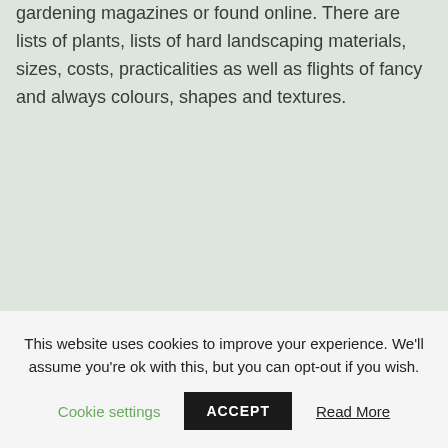gardening magazines or found online. There are lists of plants, lists of hard landscaping materials, sizes, costs, practicalities as well as flights of fancy and always colours, shapes and textures.
This website uses cookies to improve your experience. We'll assume you're ok with this, but you can opt-out if you wish.
Cookie settings
ACCEPT
Read More